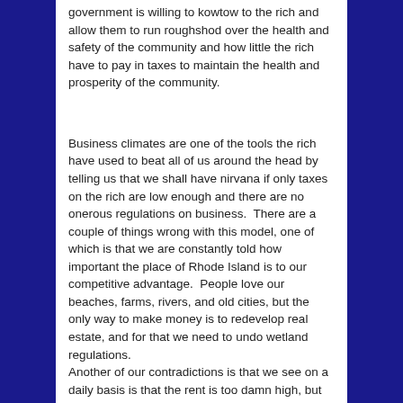government is willing to kowtow to the rich and allow them to run roughshod over the health and safety of the community and how little the rich have to pay in taxes to maintain the health and prosperity of the community.
Business climates are one of the tools the rich have used to beat all of us around the head by telling us that we shall have nirvana if only taxes on the rich are low enough and there are no onerous regulations on business.  There are a couple of things wrong with this model, one of which is that we are constantly told how important the place of Rhode Island is to our competitive advantage.  People love our beaches, farms, rivers, and old cities, but the only way to make money is to redevelop real estate, and for that we need to undo wetland regulations.
Another of our contradictions is that we see on a daily basis is that the rent is too damn high, but falling real estate prices are anathema to our future.  Which is it guys??  Do we want more homeless folks, more people who can't afford a place to live? Or is overpricing...